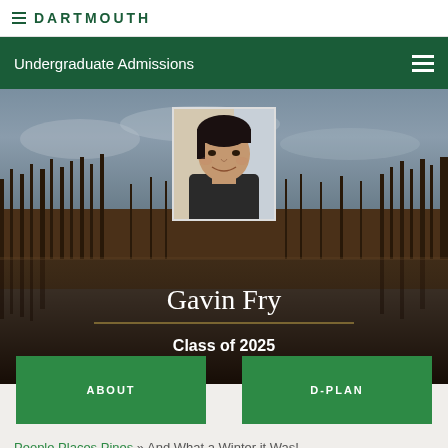DARTMOUTH
Undergraduate Admissions
[Figure (photo): Hero banner with a landscape photo showing bare winter trees reflected in a still lake/river. Overlaid with a student profile photo of Gavin Fry, a young man with dark hair smiling. Text overlay reads 'Gavin Fry' and 'Class of 2025'.]
Gavin Fry
Class of 2025
ABOUT
D-PLAN
People Places Pines » And What a Winter it Was!